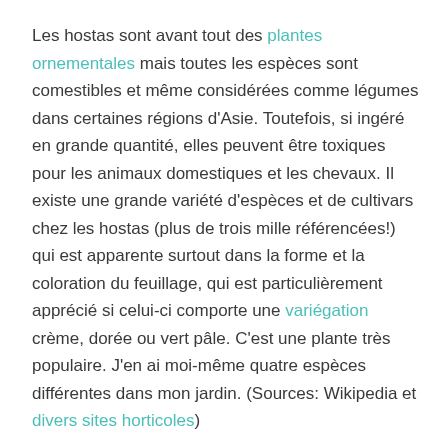Les hostas sont avant tout des plantes ornementales mais toutes les espèces sont comestibles et même considérées comme légumes dans certaines régions d'Asie. Toutefois, si ingéré en grande quantité, elles peuvent être toxiques pour les animaux domestiques et les chevaux. Il existe une grande variété d'espèces et de cultivars chez les hostas (plus de trois mille référencées!) qui est apparente surtout dans la forme et la coloration du feuillage, qui est particulièrement apprécié si celui-ci comporte une variégation crème, dorée ou vert pâle. C'est une plante très populaire. J'en ai moi-même quatre espèces différentes dans mon jardin. (Sources: Wikipedia et divers sites horticoles)
[ Translate ]